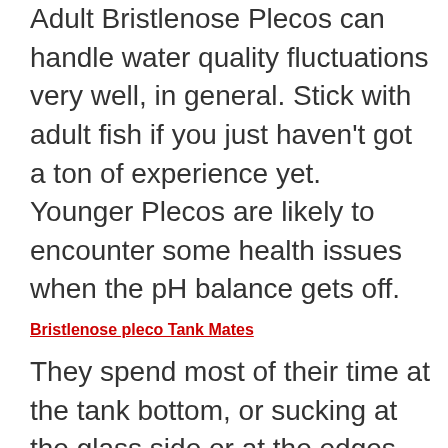Adult Bristlenose Plecos can handle water quality fluctuations very well, in general. Stick with adult fish if you just haven't got a ton of experience yet. Younger Plecos are likely to encounter some health issues when the pH balance gets off.
Bristlenose pleco Tank Mates
They spend most of their time at the tank bottom, or sucking at the glass side or at the edges.
Bristlenoses are a peaceful species and they will get along with most other peaceful fish in